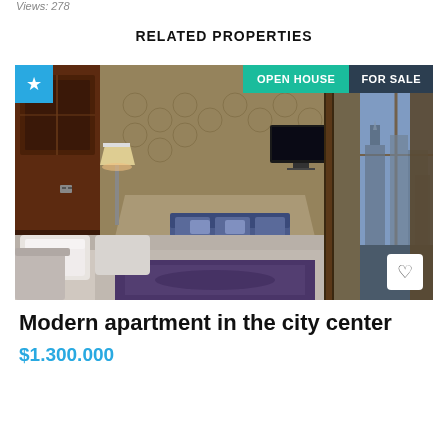Views: 278
RELATED PROPERTIES
[Figure (photo): Interior photo of a luxury hotel/apartment suite with a large bed, seating area, ornate wallpaper, curtains, TV, and large windows showing a city view at dusk. Overlaid badges: star icon (top-left, blue), OPEN HOUSE (top-center-right, teal), FOR SALE (top-right, dark). Heart icon button bottom-right.]
Modern apartment in the city center
$1.300.000